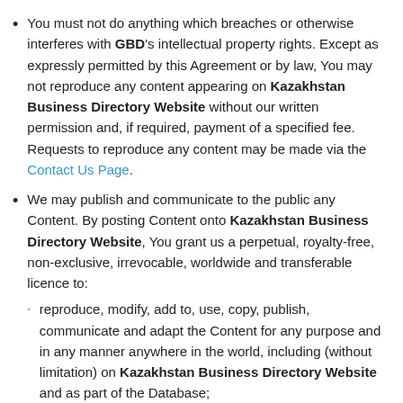You must not do anything which breaches or otherwise interferes with GBD's intellectual property rights. Except as expressly permitted by this Agreement or by law, You may not reproduce any content appearing on Kazakhstan Business Directory Website without our written permission and, if required, payment of a specified fee. Requests to reproduce any content may be made via the Contact Us Page.
We may publish and communicate to the public any Content. By posting Content onto Kazakhstan Business Directory Website, You grant us a perpetual, royalty-free, non-exclusive, irrevocable, worldwide and transferable licence to:
reproduce, modify, add to, use, copy, publish, communicate and adapt the Content for any purpose and in any manner anywhere in the world, including (without limitation) on Kazakhstan Business Directory Website and as part of the Database;
You must waive, and must ensure that all other persons waive,